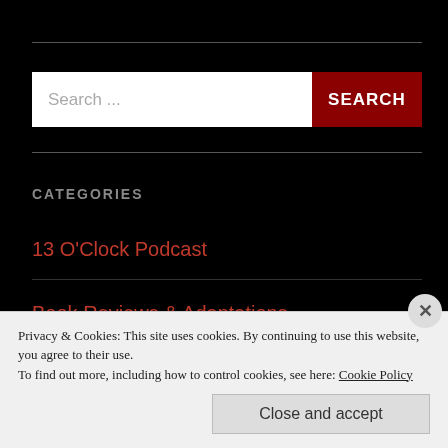[Figure (screenshot): Search bar with white input field showing 'Search ...' placeholder and a dark red 'SEARCH' button on the right]
CATEGORIES
13 O'Clock Podcast
Book Reviews & Adaptations
Privacy & Cookies: This site uses cookies. By continuing to use this website, you agree to their use.
To find out more, including how to control cookies, see here: Cookie Policy
Close and accept